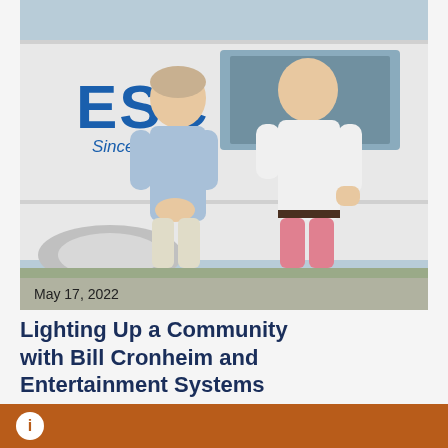[Figure (photo): Two men standing in front of a white van with 'ESC Since 1973' logo. One man in light blue polo shirt, the other in white shirt and pink shorts. Outdoor setting.]
May 17, 2022
Lighting Up a Community with Bill Cronheim and Entertainment Systems
by Reggie Bossignol